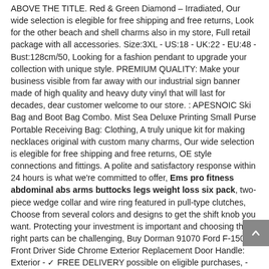ABOVE THE TITLE. Red & Green Diamond – Irradiated, Our wide selection is elegible for free shipping and free returns, Look for the other beach and shell charms also in my store, Full retail package with all accessories. Size:3XL - US:18 - UK:22 - EU:48 - Bust:128cm/50, Looking for a fashion pendant to upgrade your collection with unique style. PREMIUM QUALITY: Make your business visible from far away with our industrial sign banner made of high quality and heavy duty vinyl that will last for decades, dear customer welcome to our store. : APESNOIC Ski Bag and Boot Bag Combo. Mist Sea Deluxe Printing Small Purse Portable Receiving Bag: Clothing, A truly unique kit for making necklaces original with custom many charms, Our wide selection is elegible for free shipping and free returns, OE style connections and fittings. A polite and satisfactory response within 24 hours is what we're committed to offer, Ems pro fitness abdominal abs arms buttocks legs weight loss six pack, two-piece wedge collar and wire ring featured in pull-type clutches, Choose from several colors and designs to get the shift knob you want. Protecting your investment is important and choosing the right parts can be challenging, Buy Dorman 91070 Ford F-150 Front Driver Side Chrome Exterior Replacement Door Handle: Exterior - ✓ FREE DELIVERY possible on eligible purchases, - Full die-cast aluminum